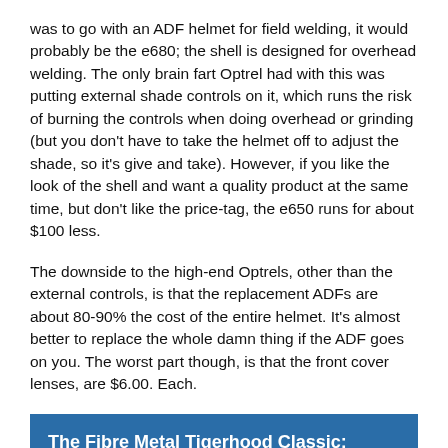was to go with an ADF helmet for field welding, it would probably be the e680; the shell is designed for overhead welding. The only brain fart Optrel had with this was putting external shade controls on it, which runs the risk of burning the controls when doing overhead or grinding (but you don't have to take the helmet off to adjust the shade, so it's give and take). However, if you like the look of the shell and want a quality product at the same time, but don't like the price-tag, the e650 runs for about $100 less.
The downside to the high-end Optrels, other than the external controls, is that the replacement ADFs are about 80-90% the cost of the entire helmet. It's almost better to replace the whole damn thing if the ADF goes on you. The worst part though, is that the front cover lenses, are $6.00. Each.
The Fibre Metal Tigerhood Classic: Simple, But Gets The Job Done.
The best helmet I have ever owned however – hands down – is